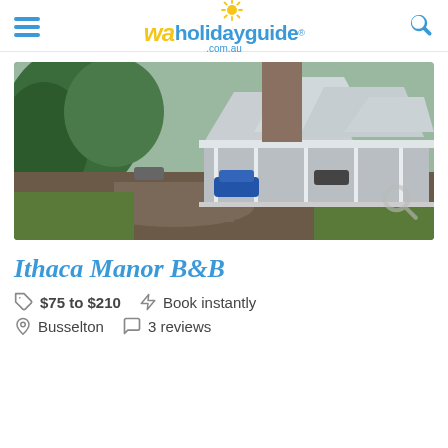waholidayguide.com.au
[Figure (photo): Aerial drone photo of Ithaca Manor B&B showing white metal roof building with veranda, surrounded by trees and a driveway with cars]
Ithaca Manor B&B
$75 to $210   Book instantly
Busselton   3 reviews